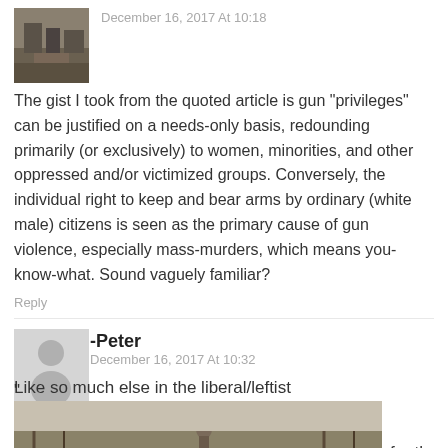[Figure (photo): Street scene avatar image for first commenter]
December 16, 2017 At 10:18
The gist I took from the quoted article is gun “privileges” can be justified on a needs-only basis, redounding primarily (or exclusively) to women, minorities, and other oppressed and/or victimized groups. Conversely, the individual right to keep and bear arms by ordinary (white male) citizens is seen as the primary cause of gun violence, especially mass-murders, which means you-know-what. Sound vaguely familiar?
Reply
[Figure (photo): Generic gray avatar placeholder with person silhouette for -Peter]
-Peter
December 16, 2017 At 10:32
Like so much else in the liberal/leftist
for thee."
[Figure (photo): Outdoor nature scene with trees and a statue]